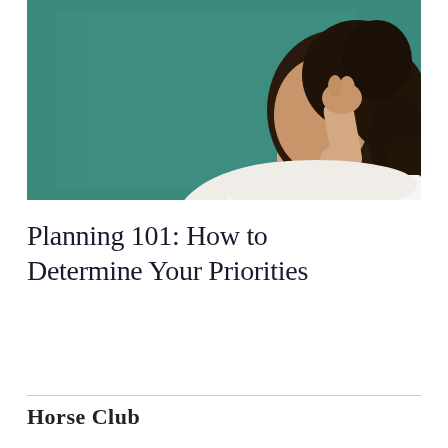[Figure (photo): A person (visible from shoulders up, dark curly hair, white top) with hand raised to chin in a thinking pose, standing in front of a green chalkboard.]
Planning 101: How to Determine Your Priorities
Horse Club